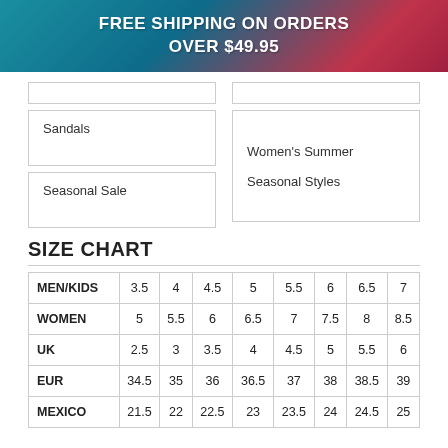FREE SHIPPING ON ORDERS OVER $49.95
Sandals
Women's Summer Seasonal Styles
Seasonal Sale
SIZE CHART
|  | 3.5 | 4 | 4.5 | 5 | 5.5 | 6 | 6.5 | 7 |
| --- | --- | --- | --- | --- | --- | --- | --- | --- |
| MEN/KIDS | 3.5 | 4 | 4.5 | 5 | 5.5 | 6 | 6.5 | 7 |
| WOMEN | 5 | 5.5 | 6 | 6.5 | 7 | 7.5 | 8 | 8.5 |
| UK | 2.5 | 3 | 3.5 | 4 | 4.5 | 5 | 5.5 | 6 |
| EUR | 34.5 | 35 | 36 | 36.5 | 37 | 38 | 38.5 | 39 |
| MEXICO | 21.5 | 22 | 22.5 | 23 | 23.5 | 24 | 24.5 | 25 |